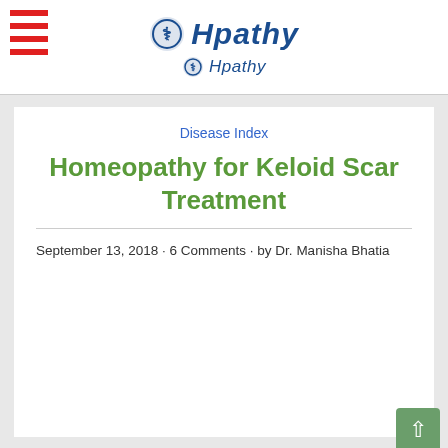Hpathy (logo with hamburger menu)
Disease Index
Homeopathy for Keloid Scar Treatment
September 13, 2018 · 6 Comments · by Dr. Manisha Bhatia